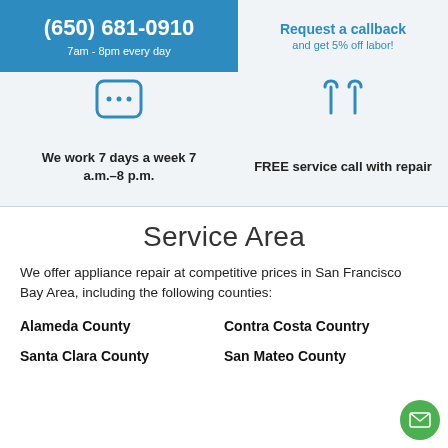(650) 681-0910
7am - 8pm every day
Request a callback
and get 5% off labor!
[Figure (illustration): Blue icon of a mobile phone with dotted screen]
[Figure (illustration): Blue icon of two tuning fork / wrench shapes]
We work 7 days a week 7 a.m.–8 p.m.
FREE service call with repair
Service Area
We offer appliance repair at competitive prices in San Francisco Bay Area, including the following counties:
Alameda County
Contra Costa Country
Santa Clara County
San Mateo County